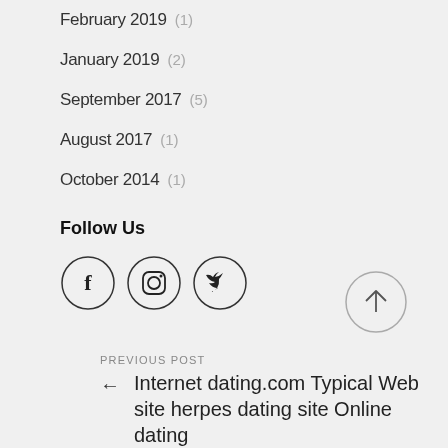February 2019  (1)
January 2019  (2)
September 2017  (5)
August 2017  (1)
October 2014  (1)
Follow Us
[Figure (illustration): Three social media icons in circles: Facebook (f), Instagram (camera), Twitter (bird)]
[Figure (illustration): Scroll-to-top button: circle with upward arrow]
PREVIOUS POST
Internet dating.com Typical Web site herpes dating site Online dating